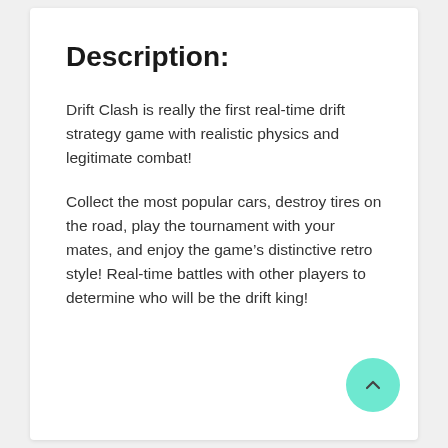Description:
Drift Clash is really the first real-time drift strategy game with realistic physics and legitimate combat!
Collect the most popular cars, destroy tires on the road, play the tournament with your mates, and enjoy the game’s distinctive retro style! Real-time battles with other players to determine who will be the drift king!